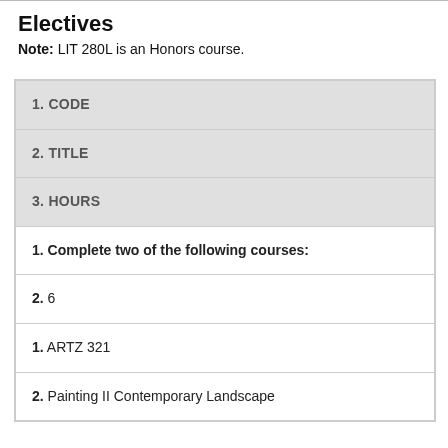Electives
Note: LIT 280L is an Honors course.
| 1. CODE | 2. TITLE | 3. HOURS |
| --- | --- | --- |
| 1. Complete two of the following courses: |  |  |
| 2. 6 |  |  |
| 1. ARTZ 321 | 2. Painting II Contemporary Landscape |  |